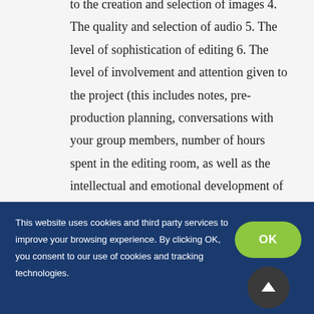to the creation and selection of images 4. The quality and selection of audio 5. The level of sophistication of editing 6. The level of involvement and attention given to the project (this includes notes, pre-production planning, conversations with your group members, number of hours spent in the editing room, as well as the intellectual and emotional development of your thinking with your project.) 7. Submission of a properly labeled movie file for the final screening
This website uses cookies and third party services to improve your browsing experience. By clicking OK, you consent to our use of cookies and tracking technologies.